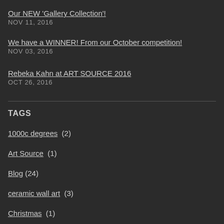Our NEW 'Gallery Collection'!
NOV 11, 2016
We have a WINNER! From our October competition!
NOV 03, 2016
Rebeka Kahn at ART SOURCE 2016
OCT 26, 2016
TAGS
1000c degrees  (2)
Art Source  (1)
Blog  (24)
ceramic wall art  (3)
Christmas  (1)